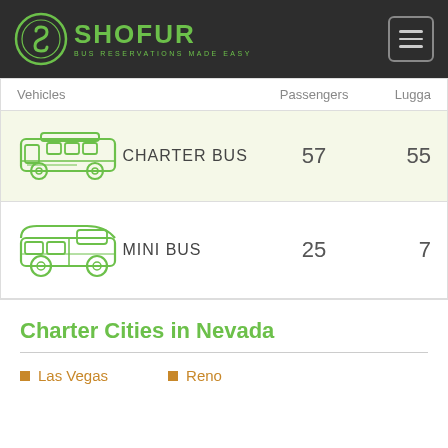SHOFUR BUS RESERVATIONS MADE EASY
| Vehicles | Passengers | Luggage |
| --- | --- | --- |
| CHARTER BUS | 57 | 55 |
| MINI BUS | 25 | 7 |
Charter Cities in Nevada
Las Vegas
Reno